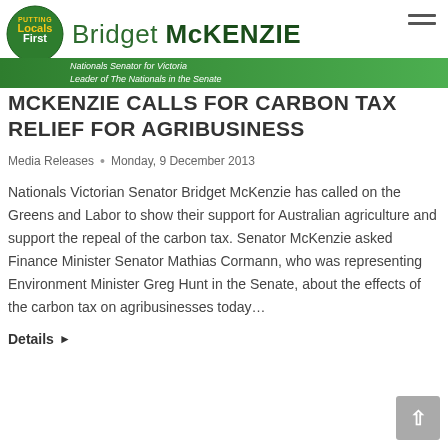Bridget McKENZIE – Nationals Senator for Victoria, Leader of The Nationals in the Senate
MCKENZIE CALLS FOR CARBON TAX RELIEF FOR AGRIBUSINESS
Media Releases • Monday, 9 December 2013
Nationals Victorian Senator Bridget McKenzie has called on the Greens and Labor to show their support for Australian agriculture and support the repeal of the carbon tax. Senator McKenzie asked Finance Minister Senator Mathias Cormann, who was representing Environment Minister Greg Hunt in the Senate, about the effects of the carbon tax on agribusinesses today…
Details ▶